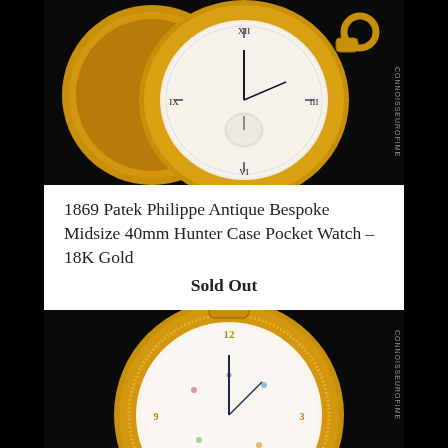[Figure (photo): Antique gold hunter case pocket watch open showing white enamel dial with Roman numerals and subsidiary seconds dial, on black background. Watermark: CONNOISSEUROFIME]
1869 Patek Philippe Antique Bespoke Midsize 40mm Hunter Case Pocket Watch - 18K Gold
Sold Out
[Figure (photo): Antique gold pocket watch partially open showing ornate enamel dial with floral decoration and gold Roman numerals, crown and bow visible at top, on black background. Watermark: CONNOISSEUROFIME]